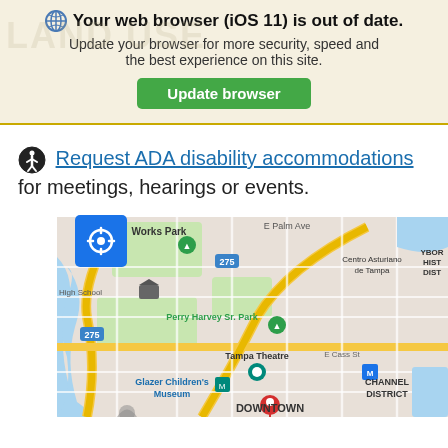Your web browser (iOS 11) is out of date. Update your browser for more security, speed and the best experience on this site. [Update browser button]
Request ADA disability accommodations for meetings, hearings or events.
[Figure (map): Google Maps screenshot showing downtown Tampa, FL area including Works Park, Perry Harvey Sr. Park, Tampa Theatre, Glazer Children's Museum, Centro Asturiano de Tampa, YBOR HIST DIST, CHANNEL DISTRICT, and DOWNTOWN labels. A red location pin is visible in the center.]